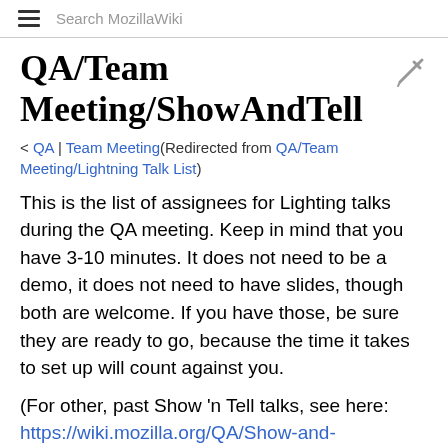Search MozillaWiki
QA/Team Meeting/ShowAndTell
< QA | Team Meeting(Redirected from QA/Team Meeting/Lightning Talk List)
This is the list of assignees for Lighting talks during the QA meeting. Keep in mind that you have 3-10 minutes. It does not need to be a demo, it does not need to have slides, though both are welcome. If you have those, be sure they are ready to go, because the time it takes to set up will count against you.
(For other, past Show 'n Tell talks, see here: https://wiki.mozilla.org/QA/Show-and-Tell#Schedule)